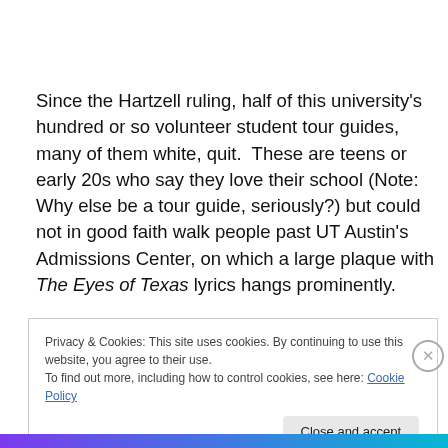Since the Hartzell ruling, half of this university's hundred or so volunteer student tour guides, many of them white, quit.  These are teens or early 20s who say they love their school (Note: Why else be a tour guide, seriously?) but could not in good faith walk people past UT Austin's Admissions Center, on which a large plaque with The Eyes of Texas lyrics hangs prominently.
Privacy & Cookies: This site uses cookies. By continuing to use this website, you agree to their use.
To find out more, including how to control cookies, see here: Cookie Policy